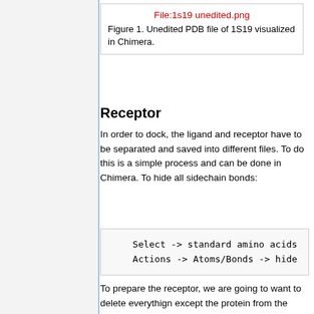[Figure (other): Placeholder figure box with red link text 'File:1s19 unedited.png' and caption below]
Figure 1. Unedited PDB file of 1S19 visualized in Chimera.
Receptor
In order to dock, the ligand and receptor have to be separated and saved into different files. To do this is a simple process and can be done in Chimera. To hide all sidechain bonds:
Select -> standard amino acids
    Actions -> Atoms/Bonds -> hide
To prepare the receptor, we are going to want to delete everythign except the protein from the PDB file. To do this in